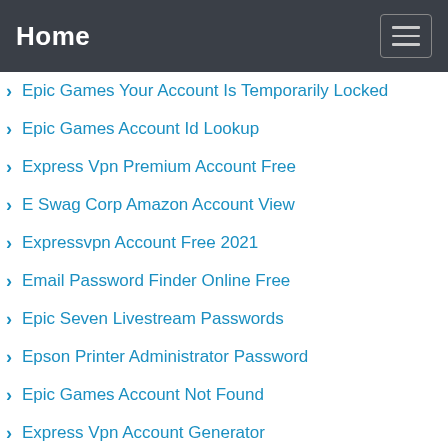Home
Epic Games Your Account Is Temporarily Locked
Epic Games Account Id Lookup
Express Vpn Premium Account Free
E Swag Corp Amazon Account View
Expressvpn Account Free 2021
Email Password Finder Online Free
Epic Seven Livestream Passwords
Epson Printer Administrator Password
Epic Games Account Not Found
Express Vpn Account Generator
Export Passwords From Samsung Pass
Export Outlook Account Settings